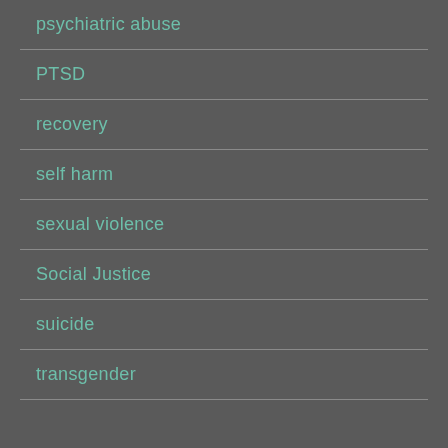psychiatric abuse
PTSD
recovery
self harm
sexual violence
Social Justice
suicide
transgender